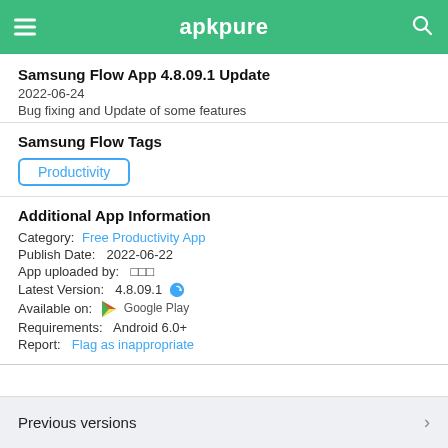apkpure
Samsung Flow App 4.8.09.1 Update
2022-06-24
Bug fixing and Update of some features
Samsung Flow Tags
Productivity
Additional App Information
Category: Free Productivity App
Publish Date: 2022-06-22
App uploaded by: □□□
Latest Version: 4.8.09.1
Available on: Google Play
Requirements: Android 6.0+
Report: Flag as inappropriate
Previous versions